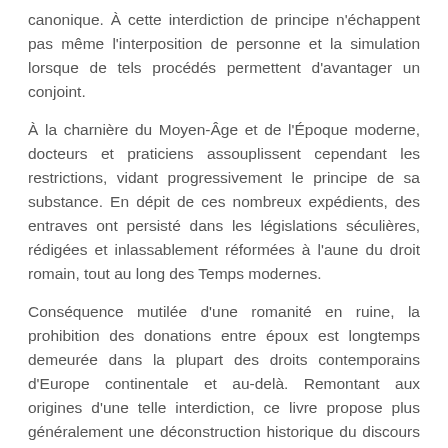canonique. À cette interdiction de principe n'échappent pas même l'interposition de personne et la simulation lorsque de tels procédés permettent d'avantager un conjoint.
À la charnière du Moyen-Âge et de l'Époque moderne, docteurs et praticiens assouplissent cependant les restrictions, vidant progressivement le principe de sa substance. En dépit de ces nombreux expédients, des entraves ont persisté dans les législations séculières, rédigées et inlassablement réformées à l'aune du droit romain, tout au long des Temps modernes.
Conséquence mutilée d'une romanité en ruine, la prohibition des donations entre époux est longtemps demeurée dans la plupart des droits contemporains d'Europe continentale et au-delà. Remontant aux origines d'une telle interdiction, ce livre propose plus généralement une déconstruction historique du discours moralisateur pesant sur les rapports patrimoniaux